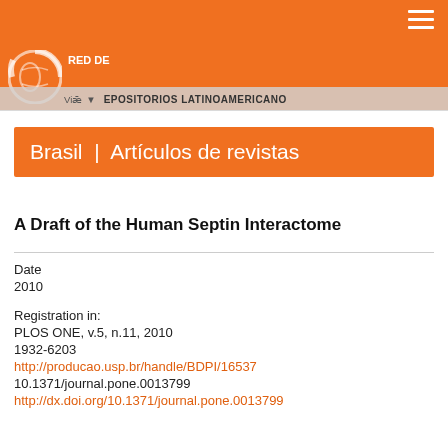RED DE REPOSITORIOS LATINOAMERICANO
Brasil | Artículos de revistas
A Draft of the Human Septin Interactome
Date
2010
Registration in:
PLOS ONE, v.5, n.11, 2010
1932-6203
http://producao.usp.br/handle/BDPI/16537
10.1371/journal.pone.0013799
http://dx.doi.org/10.1371/journal.pone.0013799